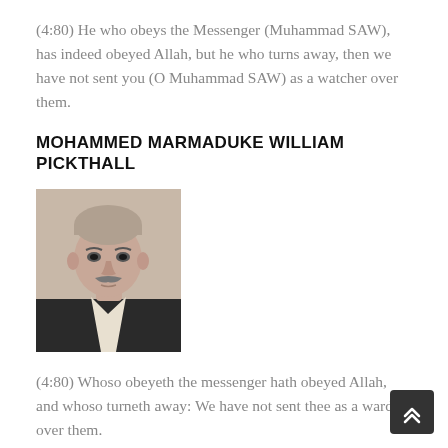(4:80) He who obeys the Messenger (Muhammad SAW), has indeed obeyed Allah, but he who turns away, then we have not sent you (O Muhammad SAW) as a watcher over them.
MOHAMMED MARMADUKE WILLIAM PICKTHALL
[Figure (photo): Black and white portrait photograph of Mohammed Marmaduke William Pickthall, a man in a suit with short hair and a mustache.]
(4:80) Whoso obeyeth the messenger hath obeyed Allah, and whoso turneth away: We have not sent thee as a warder over them.
ABDULLAH YUSUF ALI